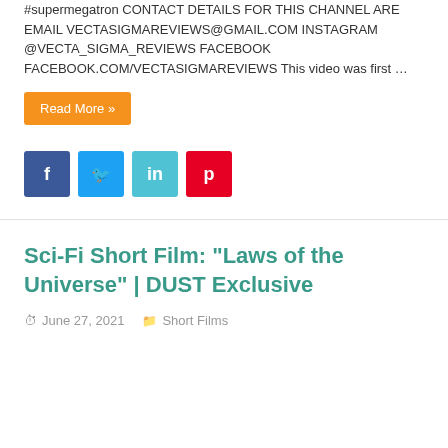#supermegatron CONTACT DETAILS FOR THIS CHANNEL ARE EMAIL VECTASIGMAREVIEWS@GMAIL.COM INSTAGRAM @VECTA_SIGMA_REVIEWS FACEBOOK FACEBOOK.COM/VECTASIGMAREVIEWS This video was first …
Read More »
[Figure (other): Social media share buttons: Facebook (blue), Twitter (light blue), LinkedIn (teal), Pinterest (red)]
Sci-Fi Short Film: "Laws of the Universe" | DUST Exclusive
June 27, 2021   Short Films